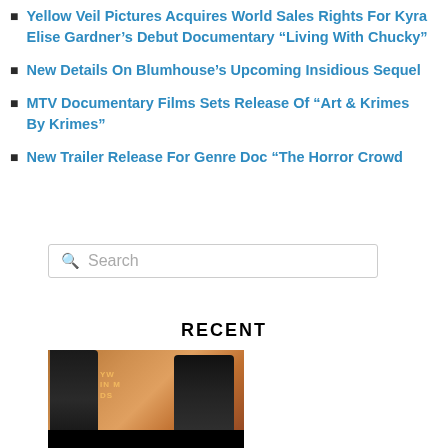Yellow Veil Pictures Acquires World Sales Rights For Kyra Elise Gardner’s Debut Documentary “Living With Chucky”
New Details On Blumhouse’s Upcoming Insidious Sequel
MTV Documentary Films Sets Release Of “Art & Krimes By Krimes”
New Trailer Release For Genre Doc “The Horror Crowd
Search
RECENT
[Figure (photo): Two people at an awards ceremony, one in a sparkly jacket and one in dark clothing speaking at a microphone, with an orange circular backdrop showing partial text.]